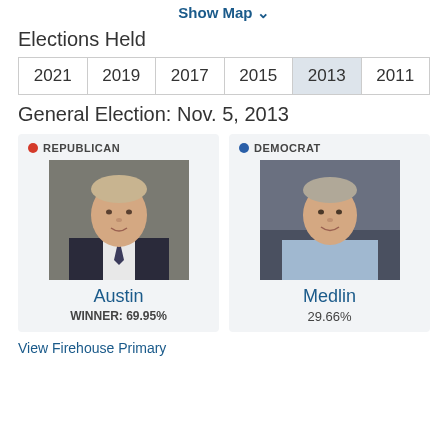Show Map ∨
Elections Held
| 2021 | 2019 | 2017 | 2015 | 2013 | 2011 |
| --- | --- | --- | --- | --- | --- |
General Election: Nov. 5, 2013
[Figure (photo): Republican candidate Austin photo and Democrat candidate Medlin photo side by side with party labels, names, and vote percentages. Austin: WINNER 69.95%, Medlin: 29.66%]
View Firehouse Primary